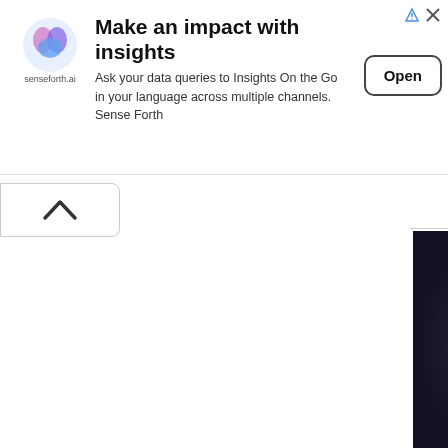[Figure (screenshot): Advertisement banner for senseforth.ai showing logo, headline 'Make an impact with insights', body text about Insights On the Go, and an Open button]
[Figure (photo): Weather icon showing thunderstorm with sun, labeled 50% chance]
Sunday... A 50 chance of sho thunderstorms. Pa with a high near 84.
[Figure (photo): Weather icon showing thunderstorm clouds, labeled 30% chance]
Sunday Night... A chance of show thunderstorms. Pa with a low around 6
[Figure (photo): Weather icon showing thunderstorm with sun, labeled 60% chance]
Monday... Showers possibly a thu Partly sunny with c